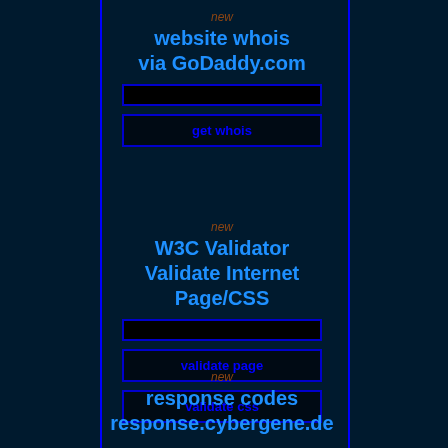new
website whois
via GoDaddy.com
[Figure (other): Text input box for domain name entry]
[Figure (other): Button labeled 'get whois']
new
W3C Validator
Validate Internet Page/CSS
[Figure (other): Text input box for URL entry]
[Figure (other): Button labeled 'validate page']
[Figure (other): Button labeled 'validate css']
new
response codes
response.cybergene.de